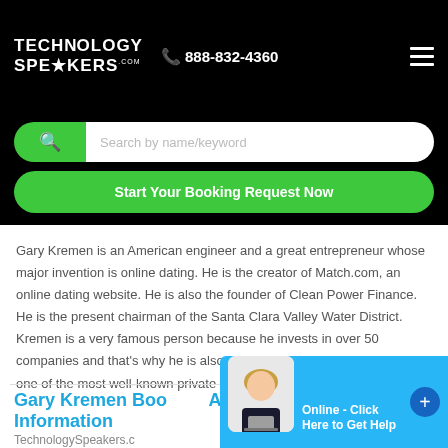TECHNOLOGY SPEAKERS.com  ☎ 888-832-4360
Search by name/keyword
Start Your Booking Request Now
Gary Kremen is an American engineer and a great entrepreneur whose major invention is online dating. He is the creator of Match.com, an online dating website. He is also the founder of Clean Power Finance. He is the present chairman of the Santa Clara Valley Water District. Kremen is a very famous person because he invests in over 50 companies and that's why he is also known as an angel investor and one of the most well-known private investor.p>
Gary Kremen Booking Agent Information
TechnologySpeakers.c…
[Figure (photo): Chat support widget with female agent photo and 'Online - Click Here to Get Help' button]